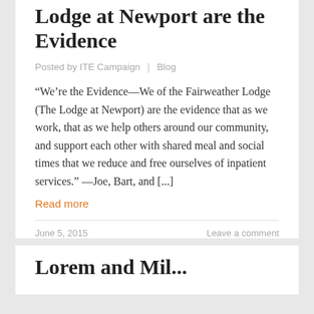Lodge at Newport are the Evidence
Posted by ITE Campaign | Blog
“We’re the Evidence—We of the Fairweather Lodge (The Lodge at Newport) are the evidence that as we work, that as we help others around our community, and support each other with shared meal and social times that we reduce and free ourselves of inpatient services.” —Joe, Bart, and [...]
Read more
June 5, 2015    Leave a comment
Lorem and Mil...